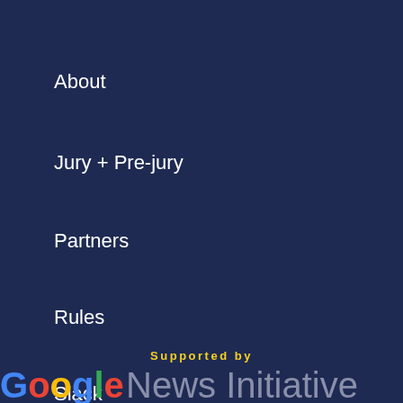About
Jury + Pre-jury
Partners
Rules
Slack
Supported by
[Figure (logo): Google News Initiative logo at the bottom of the page]